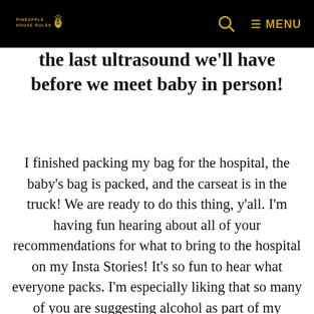PINEAPPLE HOUSE RULES
the last ultrasound we'll have before we meet baby in person!
I finished packing my bag for the hospital, the baby's bag is packed, and the carseat is in the truck! We are ready to do this thing, y'all. I'm having fun hearing about all of your recommendations for what to bring to the hospital on my Insta Stories! It's so fun to hear what everyone packs. I'm especially liking that so many of you are suggesting alcohol as part of my suitcase. Y'all know me well.